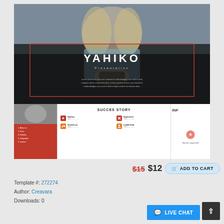[Figure (screenshot): Preview of YAHIKO Presentation template showing a main slide with a photographer woman background image, YAHIKO title in bold white text, Presentation subtitle, Lorem ipsum body text, red border rectangle overlay. Below the main slide are thumbnail slides including a red navigation slide, a SUCCES STORY slide with orange and red icons for Startup, Growth up, Expansion, Leadership sections, and a partially visible third slide labeled INF.]
$15 $12  ADD TO CART
Template #: 272274
Author: Creavara
Downloads: 0
LIVE CHAT